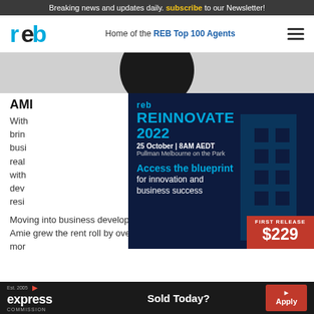Breaking news and updates daily. subscribe to our Newsletter!
reb — Home of the REB Top 100 Agents
[Figure (photo): Circular profile photo of a person with dark hair against a dark background]
[Figure (infographic): REB Reinnovate 2022 advertisement. 25 October, 8AM AEDT, Pullman Melbourne on the Park. Principal Partner: propic. Access the blueprint for innovation and business success. First Release $229.]
AMIE...
With... brings... business... real... ion with... dev... resi...
Moving into business development for property management in 2014, Amie grew the rent roll by over... more...
[Figure (infographic): Express Commission advertisement. Est. 2005. Sold Today? Apply.]